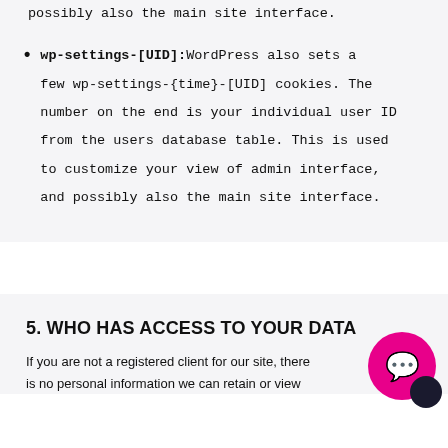possibly also the main site interface.
wp-settings-[UID]: WordPress also sets a few wp-settings-{time}-[UID] cookies. The number on the end is your individual user ID from the users database table. This is used to customize your view of admin interface, and possibly also the main site interface.
5. WHO HAS ACCESS TO YOUR DATA
If you are not a registered client for our site, there is no personal information we can retain or view